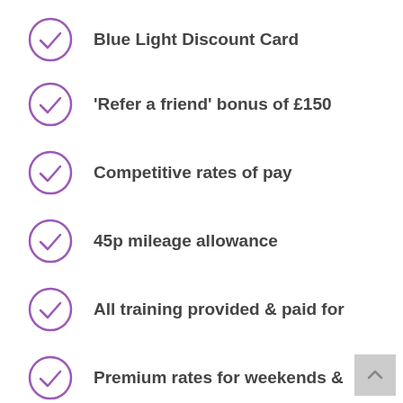Blue Light Discount Card
'Refer a friend' bonus of £150
Competitive rates of pay
45p mileage allowance
All training provided & paid for
Premium rates for weekends &